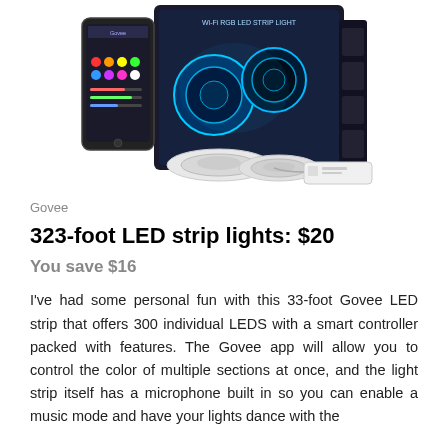[Figure (photo): Product photo showing Govee WiFi RGB LED Strip Light package box, a smartphone displaying the Govee app, two rolls of LED strip, and a white smart controller unit.]
Govee
323-foot LED strip lights: $20
You save $16
I've had some personal fun with this 33-foot Govee LED strip that offers 300 individual LEDS with a smart controller packed with features. The Govee app will allow you to control the color of multiple sections at once, and the light strip itself has a microphone built in so you can enable a music mode and have your lights dance with the